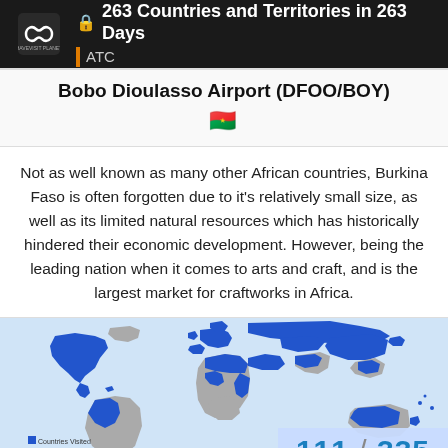🔒 263 Countries and Territories in 263 Days | ATC
Bobo Dioulasso Airport (DFOO/BOY)
🇧🇫
Not as well known as many other African countries, Burkina Faso is often forgotten due to it's relatively small size, as well as its limited natural resources which has historically hindered their economic development. However, being the leading nation when it comes to arts and craft, and is the largest market for craftworks in Africa.
[Figure (map): World map with countries visited highlighted in blue, showing progress tracker. Counter shows 111/335.]